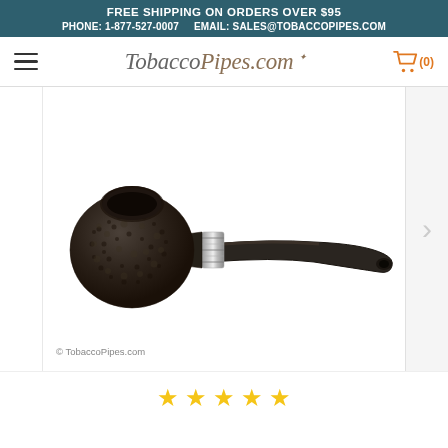FREE SHIPPING ON ORDERS OVER $95
PHONE: 1-877-527-0007   EMAIL: SALES@TOBACCOPIPES.COM
TobaccoPipes.com (0)
[Figure (photo): A dark, russet-finished tobacco pipe with a round bowl and black curved stem, featuring a silver band at the shank, photographed on a white background. Copyright watermark reads '© TobaccoPipes.com']
★★★★★